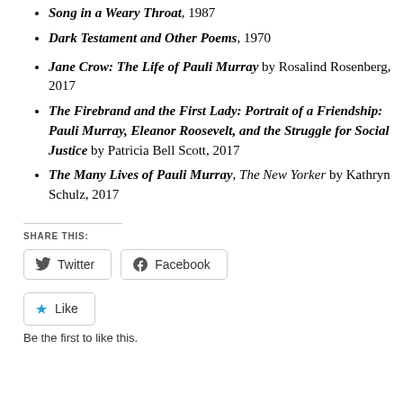Song in a Weary Throat, 1987
Dark Testament and Other Poems, 1970
Jane Crow: The Life of Pauli Murray by Rosalind Rosenberg, 2017
The Firebrand and the First Lady: Portrait of a Friendship: Pauli Murray, Eleanor Roosevelt, and the Struggle for Social Justice by Patricia Bell Scott, 2017
The Many Lives of Pauli Murray, The New Yorker by Kathryn Schulz, 2017
SHARE THIS:
Twitter  Facebook
Like  Be the first to like this.